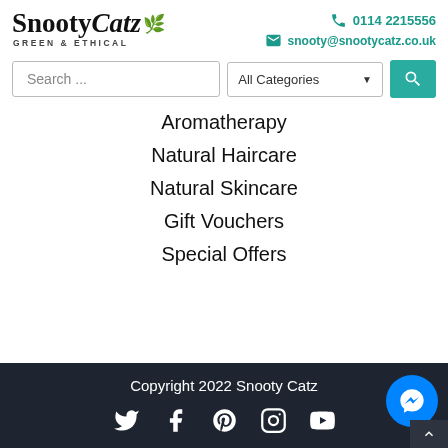[Figure (logo): SnootyCatz logo with leaf icon and GREEN & ETHICAL tagline]
0114 2215556
snooty@snootycatz.co.uk
Search ...
All Categories
Aromatherapy
Natural Haircare
Natural Skincare
Gift Vouchers
Special Offers
Copyright 2022 Snooty Catz
[Figure (other): Social media icons: Twitter, Facebook, Pinterest, Instagram, YouTube and Messenger button]